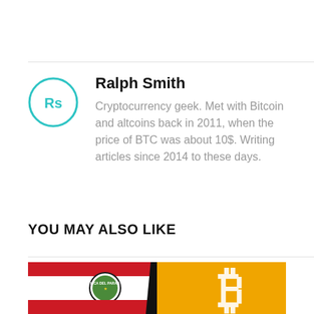[Figure (other): Author avatar: circular icon with teal/cyan border and 'Rs' initials in teal on white background]
Ralph Smith
Cryptocurrency geek. Met with Bitcoin and altcoins back in 2011, when the price of BTC was about 10$. Writing articles since 2014 to these days.
YOU MAY ALSO LIKE
[Figure (photo): Photo showing Paraguay flag alongside a smartphone displaying a Bitcoin logo on a yellow/gold background]